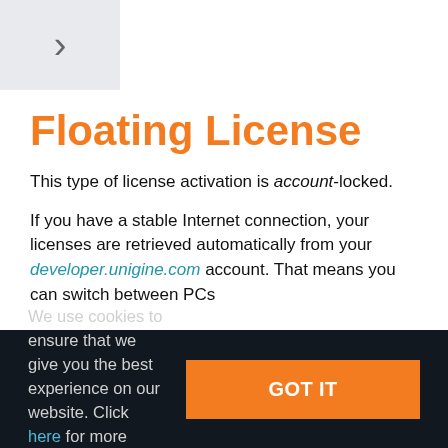Floating License
This type of license activation is account-locked.
If you have a stable Internet connection, your licenses are retrieved automatically from your developer.unigine.com account. That means you can switch between PCs
We use cookies to ensure that we give you the best experience on our website. Click here for more information.